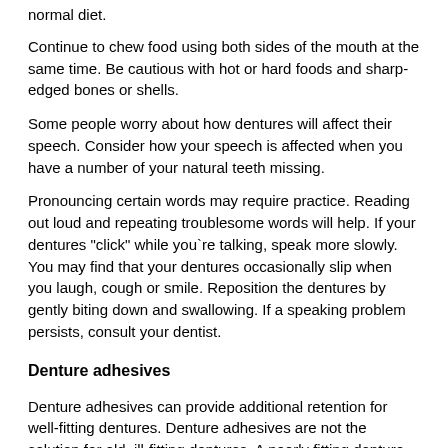normal diet.
Continue to chew food using both sides of the mouth at the same time. Be cautious with hot or hard foods and sharp-edged bones or shells.
Some people worry about how dentures will affect their speech. Consider how your speech is affected when you have a number of your natural teeth missing.
Pronouncing certain words may require practice. Reading out loud and repeating troublesome words will help. If your dentures "click" while you`re talking, speak more slowly. You may find that your dentures occasionally slip when you laugh, cough or smile. Reposition the dentures by gently biting down and swallowing. If a speaking problem persists, consult your dentist.
Denture adhesives
Denture adhesives can provide additional retention for well-fitting dentures. Denture adhesives are not the solution for old, ill-fitting dentures. A poorly fitting denture, which causes constant irritation over a long period, may contribute to the development of sores. These dentures may need a reline or need to be replaced. If your dentures begin to feel loose, or